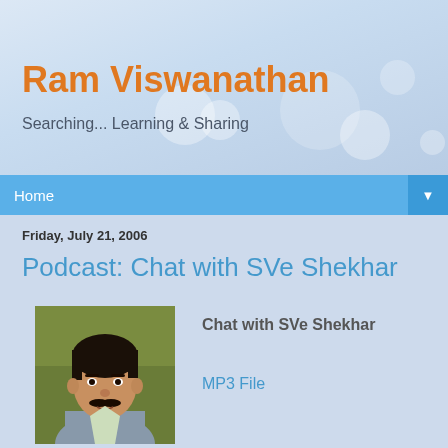Ram Viswanathan
Searching... Learning & Sharing
Home
Friday, July 21, 2006
Podcast: Chat with SVe Shekhar
[Figure (photo): Photo of SVe Shekhar, a man with black hair and moustache against a green background]
Chat with SVe Shekhar
MP3 File